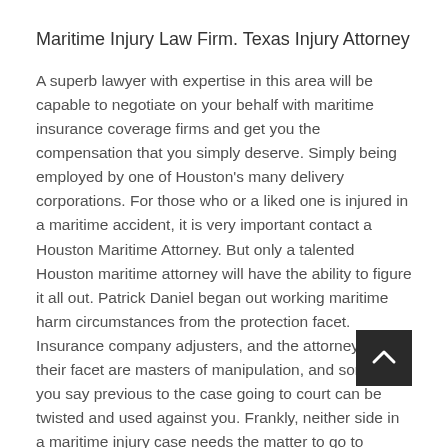Maritime Injury Law Firm. Texas Injury Attorney
A superb lawyer with expertise in this area will be capable to negotiate on your behalf with maritime insurance coverage firms and get you the compensation that you simply deserve. Simply being employed by one of Houston's many delivery corporations. For those who or a liked one is injured in a maritime accident, it is very important contact a Houston Maritime Attorney. But only a talented Houston maritime attorney will have the ability to figure it all out. Patrick Daniel began out working maritime harm circumstances from the protection facet. Insurance company adjusters, and the attorneys on their facet are masters of manipulation, and something you say previous to the case going to court can be twisted and used against you. Frankly, neither side in a maritime injury case needs the matter to go to courtroom. Often, when a maritime lawyer enters the case on the behalf of the victim, the opposing side suddenly decides it's in their greatest pursuits to settle out of courtroom. The appellate court sided with the clover attorney since it had seen that the